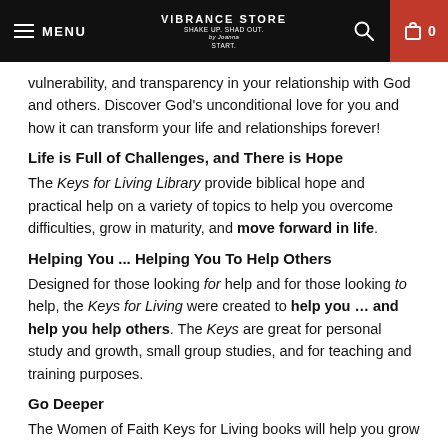MENU | VIBRANCE STORE SHAKE UP. SHAD OUT. | 0
vulnerability, and transparency in your relationship with God and others. Discover God's unconditional love for you and how it can transform your life and relationships forever!
Life is Full of Challenges, and There is Hope
The Keys for Living Library provide biblical hope and practical help on a variety of topics to help you overcome difficulties, grow in maturity, and move forward in life.
Helping You ... Helping You To Help Others
Designed for those looking for help and for those looking to help, the Keys for Living were created to help you … and help you help others. The Keys are great for personal study and growth, small group studies, and for teaching and training purposes.
Go Deeper
The Women of Faith Keys for Living books will help you grow deeper to ...